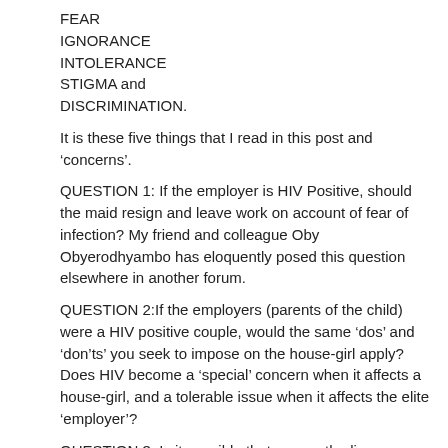FEAR
IGNORANCE
INTOLERANCE
STIGMA and DISCRIMINATION.
It is these five things that I read in this post and ‘concerns’.
QUESTION 1: If the employer is HIV Positive, should the maid resign and leave work on account of fear of infection? My friend and colleague Oby Obyerodhyambo has eloquently posed this question elsewhere in another forum.
QUESTION 2:If the employers (parents of the child) were a HIV positive couple, would the same ‘dos’ and ‘don’ts’ you seek to impose on the house-girl apply? Does HIV become a ‘special’ concern when it affects a house-girl, and a tolerable issue when it affects the elite ‘employer’?
QUESTION 3: Is it possible that among the li...